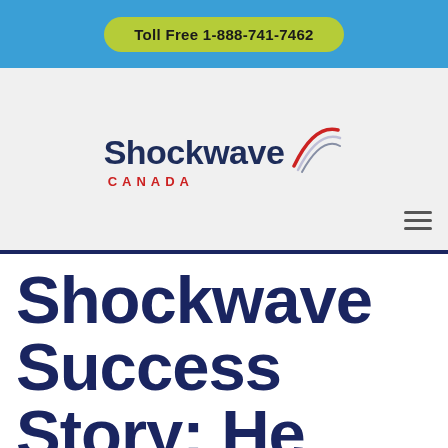Toll Free 1-888-741-7462
[Figure (logo): Shockwave Canada logo with swoosh graphic in red and blue, company name in dark navy with CANADA in red below]
Shockwave Success Story: He Couldn't